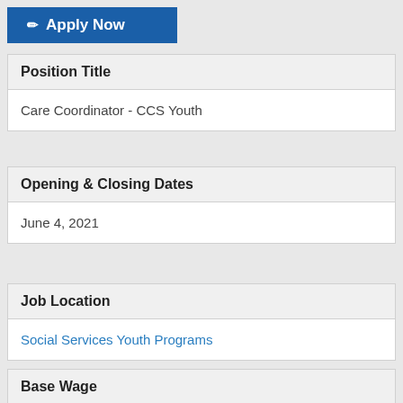Apply Now
Position Title
Care Coordinator - CCS Youth
Opening & Closing Dates
June 4, 2021
Job Location
Social Services Youth Programs
Base Wage